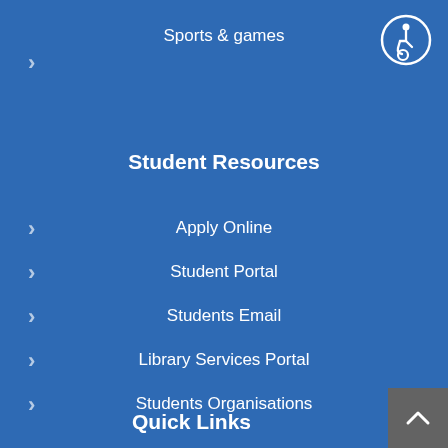Sports & games
[Figure (illustration): Accessibility icon — wheelchair user symbol in a white circle on blue background]
Student Resources
Apply Online
Student Portal
Students Email
Library Services Portal
Students Organisations
Graduations
Downloads
Quick Links